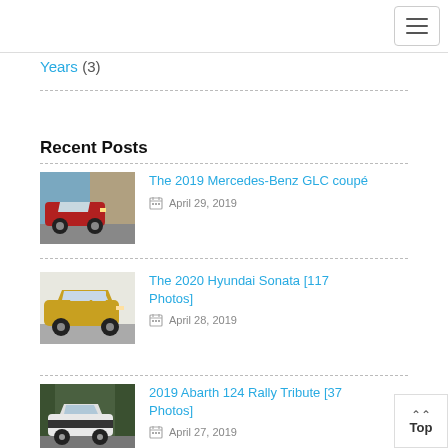≡ (hamburger menu button)
Years (3)
Recent Posts
[Figure (photo): Red Mercedes-Benz GLC coupe driving on a road with sea/cliff in background]
The 2019 Mercedes-Benz GLC coupé
April 29, 2019
[Figure (photo): Gold/yellow Hyundai Sonata sedan side view]
The 2020 Hyundai Sonata [117 Photos]
April 28, 2019
[Figure (photo): White and dark Abarth 124 Rally Tribute car in forest setting]
2019 Abarth 124 Rally Tribute [37 Photos]
April 27, 2019